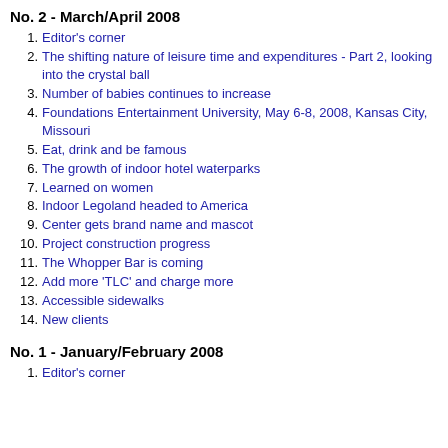No. 2 - March/April 2008
1. Editor's corner
2. The shifting nature of leisure time and expenditures - Part 2, looking into the crystal ball
3. Number of babies continues to increase
4. Foundations Entertainment University, May 6-8, 2008, Kansas City, Missouri
5. Eat, drink and be famous
6. The growth of indoor hotel waterparks
7. Learned on women
8. Indoor Legoland headed to America
9. Center gets brand name and mascot
10. Project construction progress
11. The Whopper Bar is coming
12. Add more 'TLC' and charge more
13. Accessible sidewalks
14. New clients
No. 1 - January/February 2008
1. Editor's corner